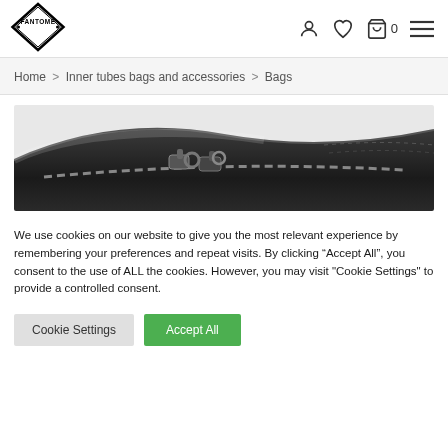[Figure (logo): Fantome brand logo — diamond shaped black and white badge with FANTOME text]
Home > Inner tubes bags and accessories > Bags
[Figure (photo): Close-up photo of a black leather bag with metal zipper and stitching detail]
We use cookies on our website to give you the most relevant experience by remembering your preferences and repeat visits. By clicking “Accept All”, you consent to the use of ALL the cookies. However, you may visit "Cookie Settings" to provide a controlled consent.
Cookie Settings | Accept All